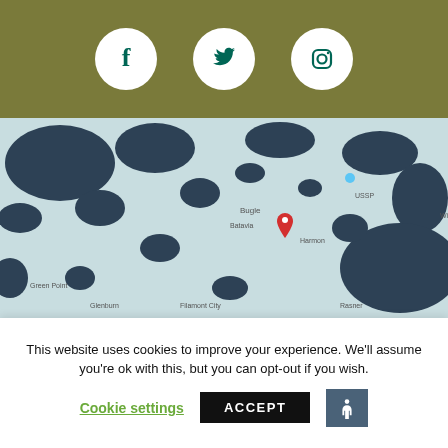[Figure (infographic): Social media banner with Facebook, Twitter, and Instagram icons on olive/khaki background]
[Figure (map): Google Maps style map with a red location pin marker, showing a regional area with dark land masses and light water bodies]
[Figure (logo): Clarion hotel brand logo with stylized 'e' icon and 'Clarion' text in dark teal/navy]
This website uses cookies to improve your experience. We'll assume you're ok with this, but you can opt-out if you wish.
Cookie settings
ACCEPT